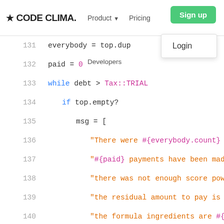CODE CLIMATE — Product ▾   Pricing   Sign up   Login   Developers
[Figure (screenshot): Code Climate website navigation bar with logo, Product dropdown, Pricing link, Sign up button, Login dropdown item, and Developers menu item]
131    everybody = top.dup
132    paid = 0
133    while debt > Tax::TRIAL
134      if top.empty?
135        msg = [
136          "There were #{everybody.count} remo
137          "#{paid} payments have been made;",
138          "there was not enough score power t
139          "the residual amount to pay is #{de
140          "the formula ingredients are #{tax.
141        ].join(' ')
142        raise msg unless opts['ignore-nodes-a
143        @log.info(msg)
144        break
145      end
146      best = top.shift
147      if tax.exists?(tax.details(best))